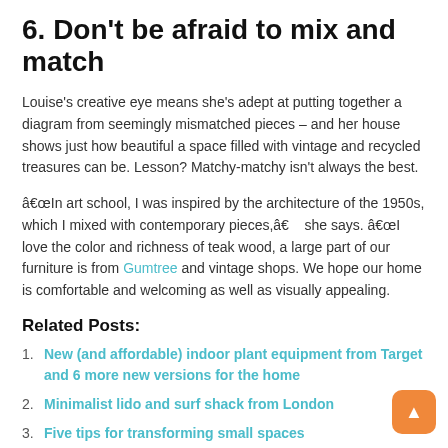6. Don't be afraid to mix and match
Louise's creative eye means she's adept at putting together a diagram from seemingly mismatched pieces – and her house shows just how beautiful a space filled with vintage and recycled treasures can be. Lesson? Matchy-matchy isn't always the best.
"In art school, I was inspired by the architecture of the 1950s, which I mixed with contemporary pieces,"  she says. "I love the color and richness of teak wood, a large part of our furniture is from Gumtree and vintage shops. We hope our home is comfortable and welcoming as well as visually appealing.
Related Posts:
New (and affordable) indoor plant equipment from Target and 6 more new versions for the home
Minimalist lido and surf shack from London
Five tips for transforming small spaces
Living room ideas: 12 colorful candy-like furniture and